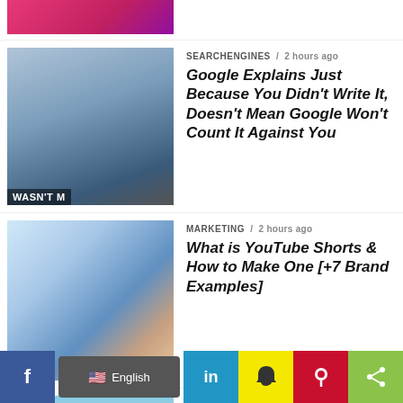[Figure (photo): Top partial thumbnail showing pink/red book graphic]
SEARCHENGINES / 2 hours ago
Google Explains Just Because You Didn't Write It, Doesn't Mean Google Won't Count It Against You
[Figure (photo): Woman in black top, text overlay 'WASN'T M' at bottom left]
MARKETING / 2 hours ago
What is YouTube Shorts & How to Make One [+7 Brand Examples]
[Figure (photo): Person lying on beach with laptop]
SEO / 3 hours ago
The 20 Minute Workweek Checklist
[Figure (photo): Black image thumbnail]
SEO / 3 hours ago
How Long Does SEO Take to Show Results?